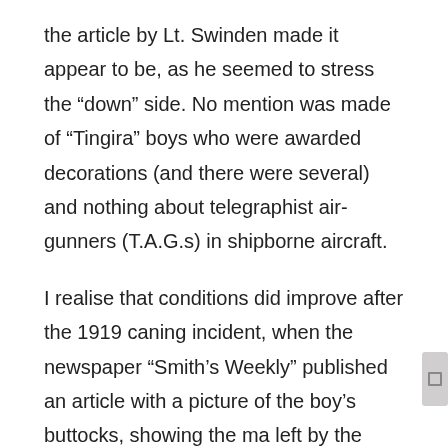the article by Lt. Swinden made it appear to be, as he seemed to stress the “down” side. No mention was made of “Tingira” boys who were awarded decorations (and there were several) and nothing about telegraphist air-gunners (T.A.G.s) in shipborne aircraft.
I realise that conditions did improve after the 1919 caning incident, when the newspaper “Smith’s Weekly” published an article with a picture of the boy’s buttocks, showing the ma left by the cane, after which caning was banned. I find it hard to believe that that sort of